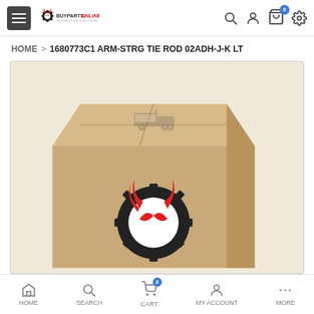BUYPARTS.ONLINE — navigation header with hamburger menu, logo, search, account, cart, and settings icons
HOME > 1680773C1 ARM-STRG TIE ROD 02ADH-J-K LT
[Figure (photo): Product image of a cardboard box with the BuyParts.Online logo (a red horned demon face with gear) and a faint truck illustration on top of the box]
HOME  SEARCH  CART  MY ACCOUNT  MORE